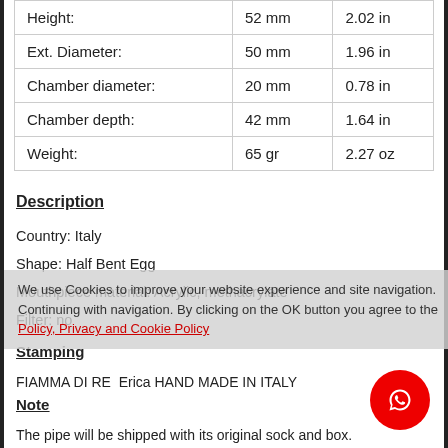| Height: | 52 mm | 2.02 in |
| Ext. Diameter: | 50 mm | 1.96 in |
| Chamber diameter: | 20 mm | 0.78 in |
| Chamber depth: | 42 mm | 1.64 in |
| Weight: | 65 gr | 2.27 oz |
Description
Country: Italy
Shape: Half Bent Egg
Mouthpiece material: Acrylic, methacrylate
Filter: no
Stamping
FIAMMA DI RE  Erica HAND MADE IN ITALY
Note
The pipe will be shipped with its original sock and box.